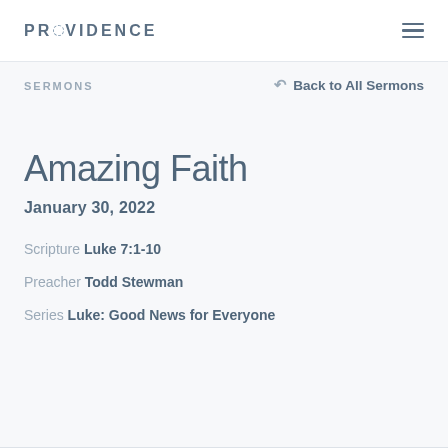PROVIDENCE
SERMONS
Back to All Sermons
Amazing Faith
January 30, 2022
Scripture Luke 7:1-10
Preacher Todd Stewman
Series Luke: Good News for Everyone